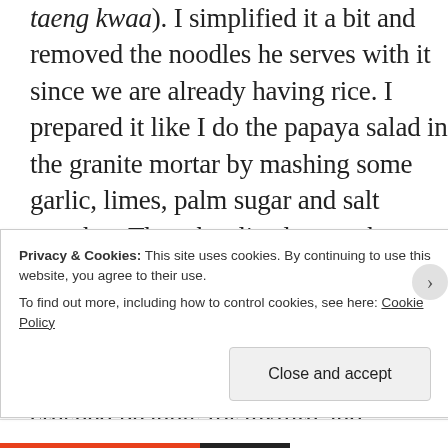taeng kwaa). I simplified it a bit and removed the noodles he serves with it since we are already having rice. I prepared it like I do the papaya salad in the granite mortar by mashing some garlic, limes, palm sugar and salt together. Then the sliced cucumber goes in and gets a bit bruised along with cherry tomatoes before being seasoned with more lime juice and fish sauce. I garnished the salad with crushed peanuts for texture and because they taste wonderful with the cukes
Privacy & Cookies: This site uses cookies. By continuing to use this website, you agree to their use.
To find out more, including how to control cookies, see here: Cookie Policy
Close and accept